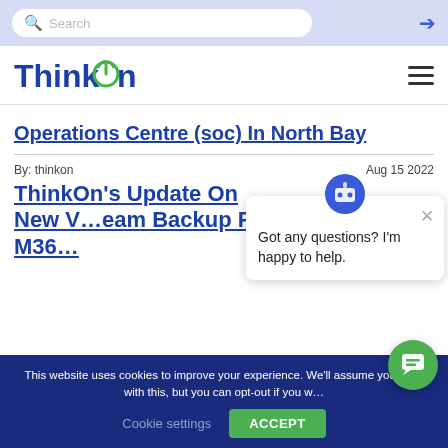Search
[Figure (logo): ThinkOn logo — blue bold text with green power-button icon above the letter O]
Operations Centre (soc) In North Bay
By: thinkon
Aug 15 2022
ThinkOn’s Update On New … eam Backup For M36…
[Figure (illustration): Chat bot popup dialog: robot icon, close X, text 'Got any questions? I’m happy to help.']
This website uses cookies to improve your experience. We’ll assume you’re ok with this, but you can opt-out if you wish.
Cookie settings   ACCEPT